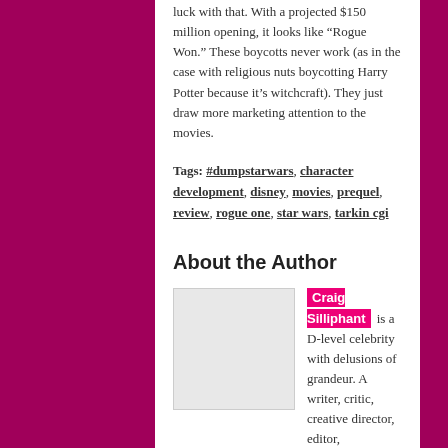luck with that. With a projected $150 million opening, it looks like “Rogue Won.” These boycotts never work (as in the case with religious nuts boycotting Harry Potter because it's witchcraft). They just draw more marketing attention to the movies.
Tags: #dumpstarwars, character development, disney, movies, prequel, review, rogue one, star wars, tarkin cgi
About the Author
[Figure (photo): Author photo placeholder, light gray rectangle]
Craig Silliphant is a D-level celebrity with delusions of grandeur. A writer, critic, creative director, editor, broadcaster, and occasional filmmaker, his thoughts have appeared on radio, television, in print, and on the web. He is a juror on the Polaris Music Prize and the Juno Awards. He loves Saskatoon. He has